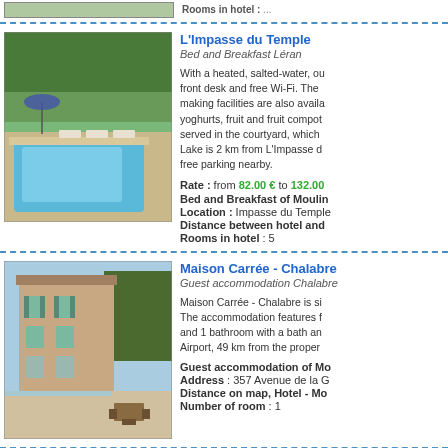[Figure (photo): Partial top image cut off at top of page]
L'Impasse du Temple
Bed and Breakfast Léran
With a heated, salted-water, ou... front desk and free Wi-Fi. The making facilities are also availa... yoghurts, fruit and fruit compot... served in the courtyard, which Lake is 2 km from L'Impasse d... free parking nearby.
Rate : from 82.00 € to 132.00
Bed and Breakfast of Moulin...
Location : Impasse du Temple...
Distance between hotel and ...
Rooms in hotel : 5
[Figure (photo): Photo of Maison Carrée - Chalabre showing a stone building with pool and outdoor furniture]
Maison Carrée - Chalabre
Guest accommodation Chalabre
Maison Carrée - Chalabre is si... The accommodation features f... and 1 bathroom with a bath an... Airport, 49 km from the proper...
Guest accommodation of Mo...
Address : 357 Avenue de la G...
Distance on map, Hotel - Mo...
Number of room : 1